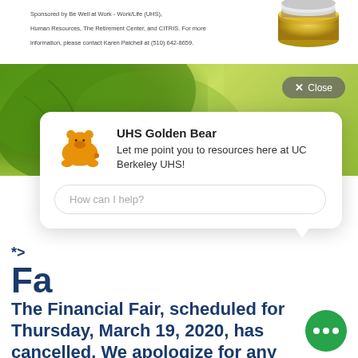Sponsored by Be Well at Work - Work/Life (UHS), Human Resources, The Retirement Center, and CITRIS. For more information, please contact Karen Patchell at (510) 642-8659.
[Figure (photo): Stack of coins, gold and silver, photographed from the side]
[Figure (photo): Green leaf banner background image]
[Figure (screenshot): UHS Golden Bear chatbot popup card with bear icon, title 'UHS Golden Bear', message 'Let me point you to resources here at UC Berkeley UHS!', and a text input field saying 'How can I help?'. Has an X Close button in top right of banner.]
*>
Fa
The Financial Fair, scheduled for Thursday, March 19, 2020, has been cancelled. We apologize for any inconvenience this may cause you. If you require financial resources,